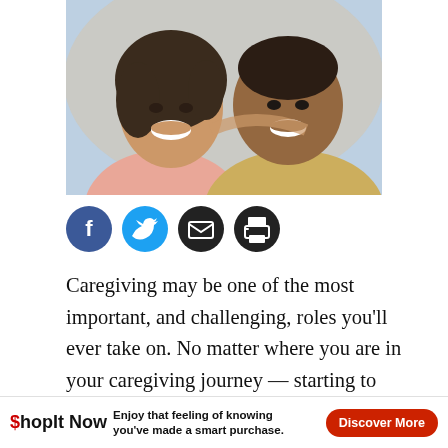[Figure (photo): A smiling young woman with curly hair hugging an older man, both looking at the camera happily.]
[Figure (infographic): Social sharing icons: Facebook (blue circle with f), Twitter (cyan circle with bird), Email (dark circle with envelope), Print (dark circle with printer).]
Caregiving may be one of the most important, and challenging, roles you'll ever take on. No matter where you are in your caregiving journey — starting to plan; taking care of a family member in your home, in a facility, or from a distance; or managing end-of-life caregiving responsibilities — having resources at your fingertips will ma
[Figure (infographic): Advertisement banner: ShopIt Now logo, text 'Enjoy that feeling of knowing you've made a smart purchase.', and a 'Discover More' red button.]